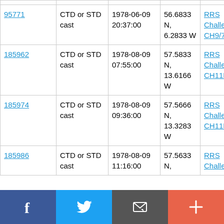|  |  |  |  |  |
| --- | --- | --- | --- | --- |
| 95771 | CTD or STD cast | 1978-06-09 20:37:00 | 56.6833 N, 6.2833 W | RRS Challenger CH9/78 |
| 185962 | CTD or STD cast | 1978-08-09 07:55:00 | 57.5833 N, 13.6166 W | RRS Challenger CH11B/78 |
| 185974 | CTD or STD cast | 1978-08-09 09:36:00 | 57.5666 N, 13.3283 W | RRS Challenger CH11B/78 |
| 185986 | CTD or STD cast | 1978-08-09 11:16:00 | 57.5633 N, | RRS Challenger |